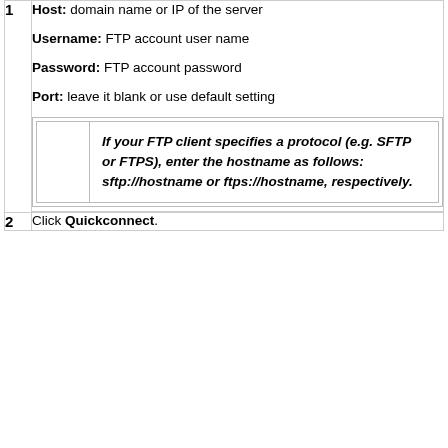Host: domain name or IP of the server
Username: FTP account user name
Password: FTP account password
Port: leave it blank or use default setting
If your FTP client specifies a protocol (e.g. SFTP or FTPS), enter the hostname as follows: sftp://hostname or ftps://hostname, respectively.
Click Quickconnect.